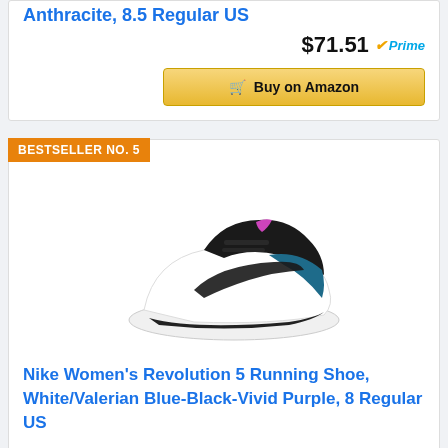Anthracite, 8.5 Regular US
$71.51 Prime
Buy on Amazon
BESTSELLER NO. 5
[Figure (photo): Nike Women's Revolution 5 Running Shoe in White/Valerian Blue-Black-Vivid Purple colorway]
Nike Women's Revolution 5 Running Shoe, White/Valerian Blue-Black-Vivid Purple, 8 Regular US
$73.98 Prime
Buy on Amazon